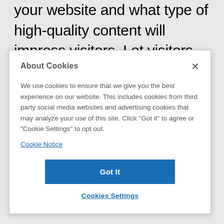your website and what type of high-quality content will impress visitors. Let visitors feel like they're getting to
About Cookies
We use cookies to ensure that we give you the best experience on our website. This includes cookies from third party social media websites and advertising cookies that may analyze your use of this site. Click "Got it" to agree or "Cookie Settings" to opt out.
Cookie Notice
Got It
Cookies Settings